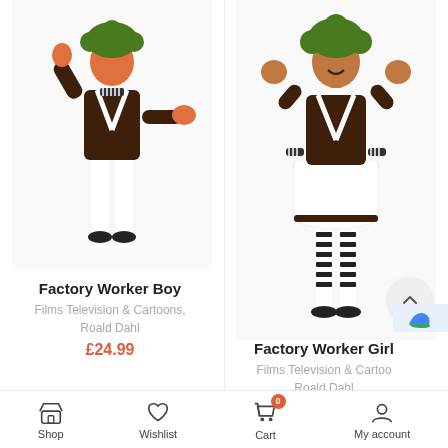[Figure (photo): Child model wearing Oompa Loompa style Factory Worker Boy costume: brown long-sleeve top with white X suspenders, white trousers, black shoes, green curly wig, arms raised]
Factory Worker Boy
Films Television & Cartoons, Roald Dahl
£24.99
[Figure (photo): Child model wearing Oompa Loompa style Factory Worker Girl costume: brown long-sleeve top with white X suspenders, white skirt/dress, black and white striped tights, black shoes, green curly wig, arms raised]
Factory Worker Girl
Films Television & Cartoons, Roald Dahl
£2.99
Shop  Wishlist  Cart  My account